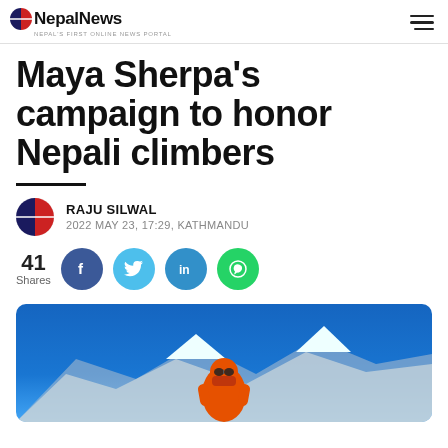NepalNews — NEPAL'S FIRST ONLINE NEWS PORTAL
Maya Sherpa's campaign to honor Nepali climbers
RAJU SILWAL
2022 MAY 23, 17:29, KATHMANDU
41 Shares
[Figure (photo): Mountain climber in red jacket and goggles at a high-altitude snowy peak against a deep blue sky]